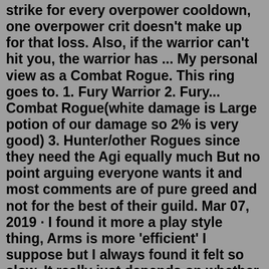strike for every overpower cooldown, one overpower crit doesn't make up for that loss. Also, if the warrior can't hit you, the warrior has ... My personal view as a Combat Rogue. This ring goes to. 1. Fury Warrior 2. Fury... Combat Rogue(white damage is Large potion of our damage so 2% is very good) 3. Hunter/other Rogues since they need the Agi equally much But no point arguing everyone wants it and most comments are of pure greed and not for the best of their guild. Mar 07, 2019 · I found it more a play style thing, Arms is more 'efficient' I suppose but I always found it felt so slow. It really just depends on whether you like maximum efficiency and speed or not, there are ways and means to get the maximum out of both but bear in mind as well that as a warrior you are utterly gear dependant and no matter how you plan sometimes the rng gear drops just dont fall for you This video is made long ago, i was combat speced. At that time, T5/Arena S2 was a very good gear. My favorite class still was undead warrior but i hadn`t pla... 6. If you want do do massive damage and